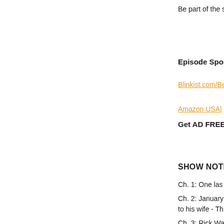Be part of the s…
Episode Spon…
Blinkist.com/Be…
Amazon USA|…
Get AD FREE…
SHOW NOTES:
Ch. 1: One las…
Ch. 2: January… to his wife - Th…
Ch. 3: Rick Wa…
Ch. 4: Day O… Show
Ch. 5: Obama…
Ch. 6: Mission…
Ch. 7: Van Jon…